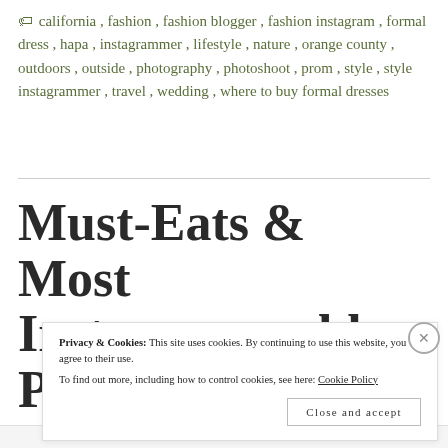🏷 california , fashion , fashion blogger , fashion instagram , formal dress , hapa , instagrammer , lifestyle , nature , orange county , outdoors , outside , photography , photoshoot , prom , style , style instagrammer , travel , wedding , where to buy formal dresses
Must-Eats & Most Instagrammable Places
Privacy & Cookies: This site uses cookies. By continuing to use this website, you agree to their use. To find out more, including how to control cookies, see here: Cookie Policy